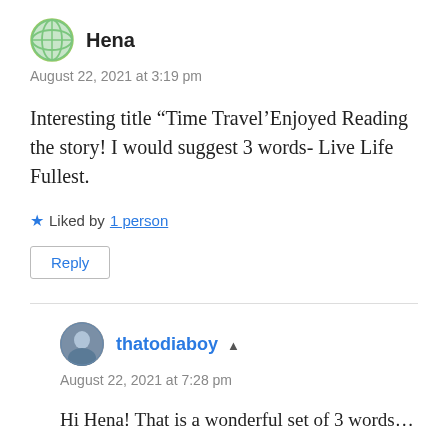[Figure (illustration): Green globe/grid avatar icon for user Hena]
Hena
August 22, 2021 at 3:19 pm
Interesting title “Time Travel’Enjoyed Reading the story! I would suggest 3 words- Live Life Fullest.
Liked by 1 person
Reply
[Figure (photo): Circular profile photo of thatodiaboy]
thatodiaboy
August 22, 2021 at 7:28 pm
Hi Hena! That is a wonderful set of 3 words…